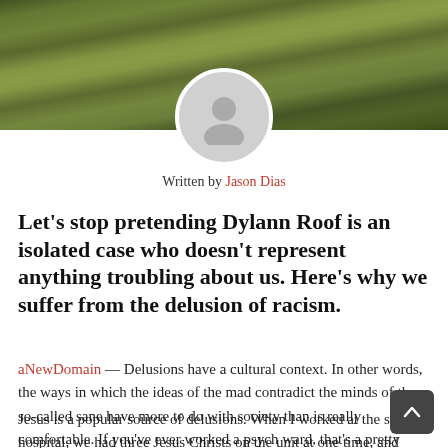[Figure (photo): Header photo showing a green grass field with diagonal shadow lines, with a circular avatar placeholder overlay centered near the bottom of the photo region.]
Written by Jason Dias
Let’s stop pretending Dylann Roof is an isolated case who doesn’t represent anything troubling about us. Here’s why we suffer from the delusion of racism.
aNewDomain — Delusions have a cultural context. In other words, the ways in which the ideas of the mad contradict the minds of the so-called sane have more to do with society than is really comfortable. If you’ve ever worked a psych ward, that’s a pretty obvious statement – and the data tend to bear that out.
Jesus is a popular source of delusions. When I worked at the state hospital, we had three Jesus Christs on the unit at one time, and